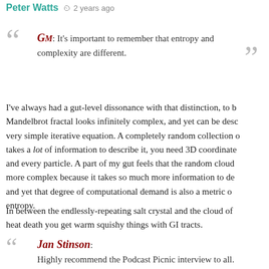Peter Watts  2 years ago
GM: It's important to remember that entropy and complexity are different.
I've always had a gut-level dissonance with that distinction, to b... Mandelbrot fractal looks infinitely complex, and yet can be desc... very simple iterative equation. A completely random collection o... takes a lot of information to describe it, you need 3D coordinate... and every particle. A part of my gut feels that the random cloud... more complex because it takes so much more information to de... and yet that degree of computational demand is also a metric o... entropy.
In between the endlessly-repeating salt crystal and the cloud of heat death you get warm squishy things with GI tracts.
Jan Stinson: Highly recommend the Podcast Picnic interview to all. Intense, personal, funny, all the things I look for in a